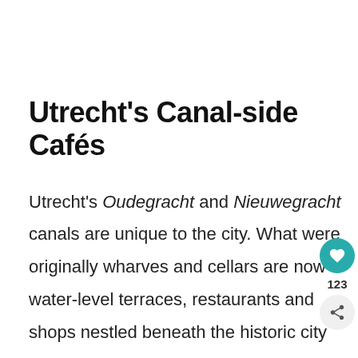Utrecht's Canal-side Cafés
Utrecht's Oudegracht and Nieuwegracht canals are unique to the city. What were originally wharves and cellars are now water-level terraces, restaurants and shops nestled beneath the historic city streets.
The Oudegracht is the oldest and most popular of the canals, with numerous